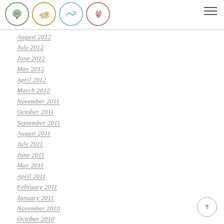Four circular logos and navigation hamburger menu
August 2012
July 2012
June 2012
May 2012
April 2012
March 2012
November 2011
October 2011
September 2011
August 2011
July 2011
June 2011
May 2011
April 2011
February 2011
January 2011
November 2010
October 2010